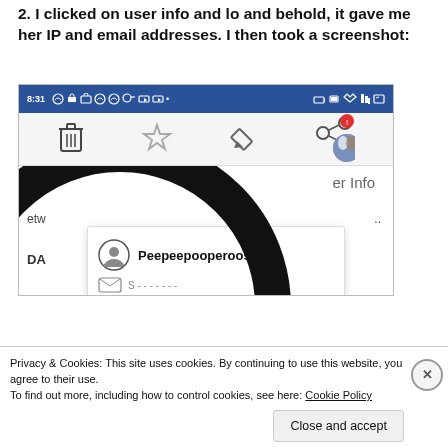2. I clicked on user info and lo and behold, it gave me her IP and email addresses. I then took a screenshot:
[Figure (screenshot): Screenshot of a mobile browser showing a WordPress/forum interface with status bar at 8:31, icon toolbar, and a user info popup displaying the username 'Peepeepopperooski' with a user avatar icon. A large black circle is drawn over part of the screenshot to redact information. A cookie consent banner overlays the bottom of the page with 'Close and accept' button.]